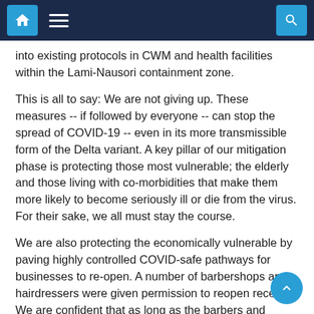Navigation bar with home, menu, and search icons
into existing protocols in CWM and health facilities within the Lami-Nausori containment zone.
This is all to say: We are not giving up. These measures -- if followed by everyone -- can stop the spread of COVID-19 -- even in its more transmissible form of the Delta variant. A key pillar of our mitigation phase is protecting those most vulnerable; the elderly and those living with co-morbidities that make them more likely to become seriously ill or die from the virus. For their sake, we all must stay the course.
We are also protecting the economically vulnerable by paving highly controlled COVID-safe pathways for businesses to re-open. A number of barbershops and hairdressers were given permission to reopen recently. We are confident that as long as the barbers and patrons are wearing masks at all times, haircuts can be managed safely.